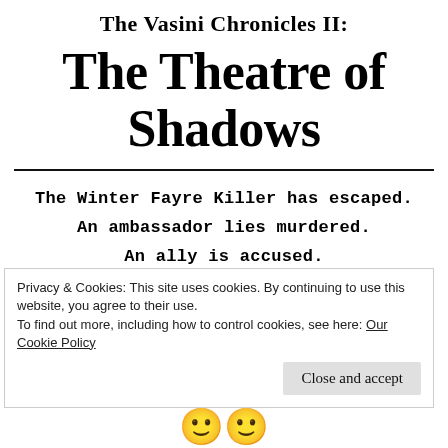The Vasini Chronicles II: The Theatre of Shadows
The Winter Fayre Killer has escaped.
An ambassador lies murdered.
An ally is accused.
Privacy & Cookies: This site uses cookies. By continuing to use this website, you agree to their use.
To find out more, including how to control cookies, see here: Our Cookie Policy
Close and accept